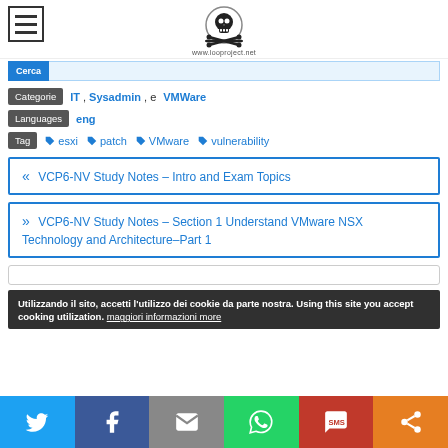www.looproject.net
Categorie  IT ,  Sysadmin , e  VMWare
Languages  eng
Tag  esxi  patch  VMware  vulnerability
« VCP6-NV Study Notes – Intro and Exam Topics
» VCP6-NV Study Notes – Section 1 Understand VMware NSX Technology and Architecture–Part 1
Utilizzando il sito, accetti l'utilizzo dei cookie da parte nostra. Using this site you accept cooking utilization. maggiori informazioni more
Twitter Facebook Email WhatsApp SMS Share